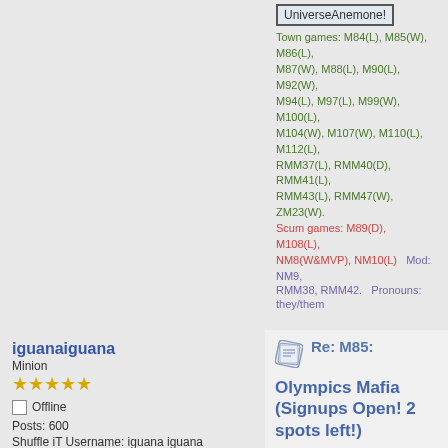UniverseAnemone!
Town games: M84(L), M85(W), M86(L), M87(W), M88(L), M90(L), M92(W), M94(L), M97(L), M99(W), M100(L), M104(W), M107(W), M110(L), M112(L), RMM37(L), RMM40(D), RMM41(L), RMM43(L), RMM47(W), ZM23(W).
Scum games: M89(D), M108(L), NM8(W&MVP), NM10(L)   Mod: NM9, RMM38, RMM42.   Pronouns: they/them
iguanaiguana
Minion
Offline
Posts: 600
Shuffle iT Username: iguana iguana
[Figure (photo): Avatar photo of an iguana, green lizard close-up]
[Figure (illustration): Profile/user icon with badge]
Re: M85:
Olympics Mafia (Signups Open! 2 spots left!)
« Reply #21 on: August 15, 2016, 06:10:26 pm »
/out